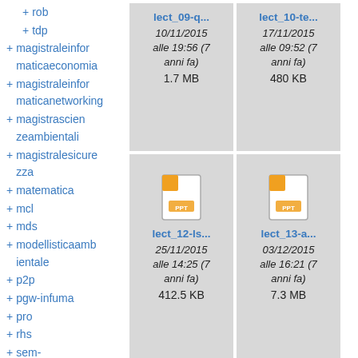+ rob
+ tdp
+ magistraleinformaticaeconomia
+ magistraleinformaticanetworking
+ magistralescienzambientali
+ magistralesicurezza
+ matematica
+ mcl
+ mds
+ modellisticaambientale
+ p2p
+ pgw-infuma
+ pro
+ rhs
+ sem-
[Figure (screenshot): File card for lect_09-q... dated 10/11/2015 alle 19:56 (7 anni fa), size 1.7 MB]
[Figure (screenshot): File card for lect_10-te... dated 17/11/2015 alle 09:52 (7 anni fa), size 480 KB]
[Figure (screenshot): File card for lect_12-ls... with PPT icon, dated 25/11/2015 alle 14:25 (7 anni fa), size 412.5 KB]
[Figure (screenshot): File card for lect_13-a... with PPT icon, dated 03/12/2015 alle 16:21 (7 anni fa), size 7.3 MB]
[Figure (screenshot): Partial file card bottom left with PPT icon]
[Figure (screenshot): Partial file card bottom right with PPT icon]